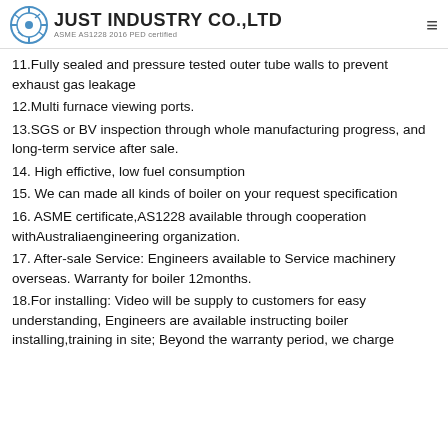JUST INDUSTRY CO.,LTD — ASME AS1228 2016 PED certified
11.Fully sealed and pressure tested outer tube walls to prevent exhaust gas leakage
12.Multi furnace viewing ports.
13.SGS or BV inspection through whole manufacturing progress, and long-term service after sale.
14. High effictive, low fuel consumption
15. We can made all kinds of boiler on your request specification
16. ASME certificate,AS1228 available through cooperation withAustraliaengineering organization.
17. After-sale Service: Engineers available to Service machinery overseas. Warranty for boiler 12months.
18.For installing: Video will be supply to customers for easy understanding, Engineers are available instructing boiler installing,training in site; Beyond the warranty period, we charge